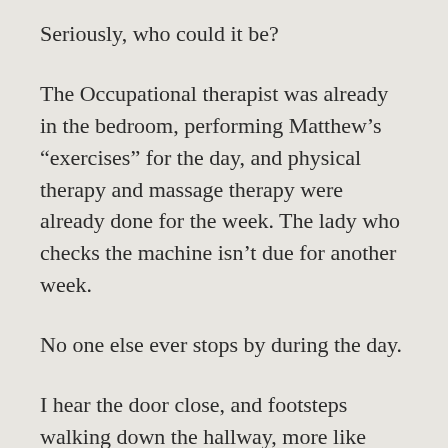Seriously, who could it be?
The Occupational therapist was already in the bedroom, performing Matthew’s “exercises” for the day, and physical therapy and massage therapy were already done for the week. The lady who checks the machine isn’t due for another week.
No one else ever stops by during the day.
I hear the door close, and footsteps walking down the hallway, more like elephants stomping and the caregiver telling me I need to see this.